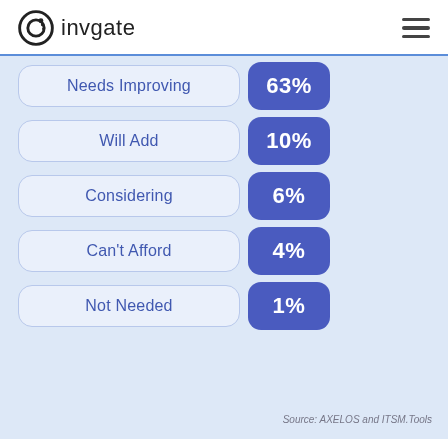invgate
[Figure (infographic): Horizontal bar-style infographic showing 5 categories with percentage values: Needs Improving 63%, Will Add 10%, Considering 6%, Can't Afford 4%, Not Needed 1%]
Source: AXELOS and ITSM.Tools